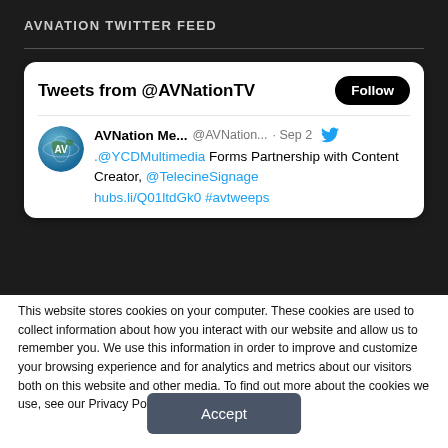AVNATION TWITTER FEED
[Figure (screenshot): Twitter feed widget showing @AVNationTV with a tweet from AVNation Me... dated Sep 2 about .@YCDMultimedia forming a partnership with Content Creator, @TelecineSignage hubs.li/Q01ltdGk0 #avtweeps]
This website stores cookies on your computer. These cookies are used to collect information about how you interact with our website and allow us to remember you. We use this information in order to improve and customize your browsing experience and for analytics and metrics about our visitors both on this website and other media. To find out more about the cookies we use, see our Privacy Policy.
Accept